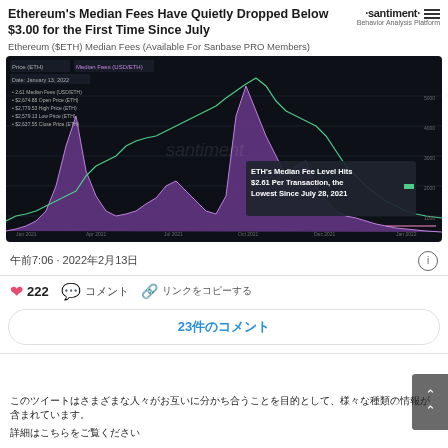Ethereum's Median Fees Have Quietly Dropped Below $3.00 for the First Time Since July
Ethereum ($ETH) Median Fees (Available For Sanbase PRO Members)
[Figure (continuous-plot): Dark-themed financial chart showing Ethereum price (green line) and median fees (purple area) over time from ~2021 to early 2022. Chart shows multiple peaks in fees and price. Annotation reads: ETH's Median Fee Level Hits $2.61 Per Transaction, the Lowest Since July 28, 2021. Watermark: santiment. Chart titles: Price (ETH) and Median Fees (USD/ETH).]
午前7:06 · 2022年2月13日
222
コメント
リンクをコピーする
23件のコメント
このツイートはさまざまな人々がお互いに分かち合うことを目的として、様々な種類の情報が含まれています。
詳細はこちらをご覧ください